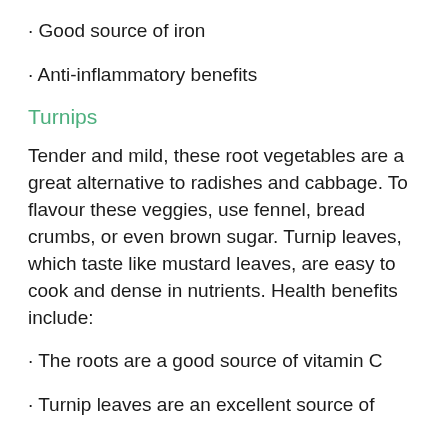· Good source of iron
· Anti-inflammatory benefits
Turnips
Tender and mild, these root vegetables are a great alternative to radishes and cabbage. To flavour these veggies, use fennel, bread crumbs, or even brown sugar. Turnip leaves, which taste like mustard leaves, are easy to cook and dense in nutrients. Health benefits include:
· The roots are a good source of vitamin C
· Turnip leaves are an excellent source of